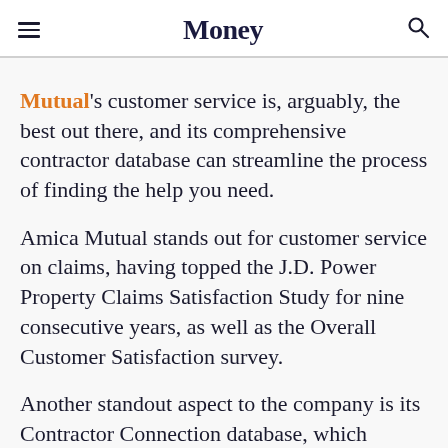Money
Mutual's customer service is, arguably, the best out there, and its comprehensive contractor database can streamline the process of finding the help you need.
Amica Mutual stands out for customer service on claims, having topped the J.D. Power Property Claims Satisfaction Study for nine consecutive years, as well as the Overall Customer Satisfaction survey.
Another standout aspect to the company is its Contractor Connection database, which